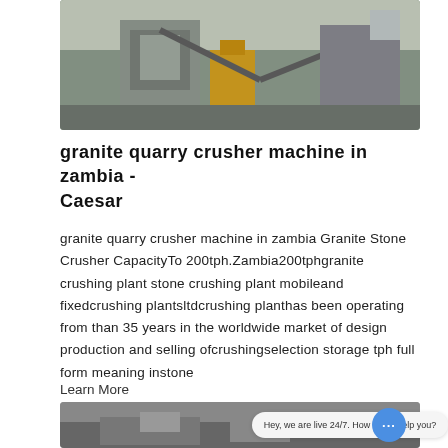[Figure (photo): Industrial granite quarry crusher machine facility with yellow equipment, conveyor belts, and steel structures against a sky background.]
granite quarry crusher machine in zambia - Caesar
granite quarry crusher machine in zambia Granite Stone Crusher CapacityTo 200tph.Zambia200tphgranite crushing plant stone crushing plant mobileand fixedcrushing plantsltdcrushing planthas been operating from than 35 years in the worldwide market of design production and selling ofcrushingselection storage tph full form meaning instone
Learn More
[Figure (photo): Quarry or mining site with heavy machinery, partially visible at bottom of page. Chat widget overlay: 'Hey, we are live 24/7. How may I help you?']